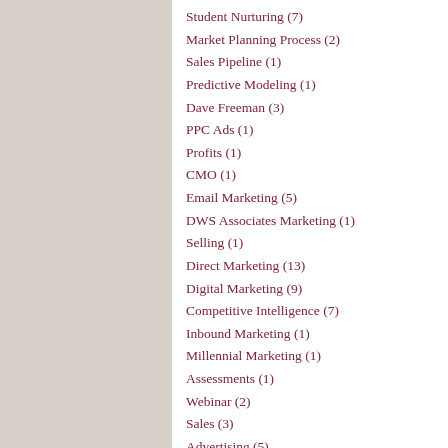Student Nurturing (7)
Market Planning Process (2)
Sales Pipeline (1)
Predictive Modeling (1)
Dave Freeman (3)
PPC Ads (1)
Profits (1)
CMO (1)
Email Marketing (5)
DWS Associates Marketing (1)
Selling (1)
Direct Marketing (13)
Digital Marketing (9)
Competitive Intelligence (7)
Inbound Marketing (1)
Millennial Marketing (1)
Assessments (1)
Webinar (2)
Sales (3)
Advertising (5)
Target Marketing (2)